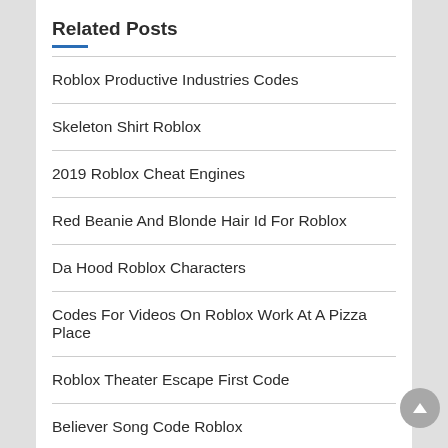Related Posts
Roblox Productive Industries Codes
Skeleton Shirt Roblox
2019 Roblox Cheat Engines
Red Beanie And Blonde Hair Id For Roblox
Da Hood Roblox Characters
Codes For Videos On Roblox Work At A Pizza Place
Roblox Theater Escape First Code
Believer Song Code Roblox